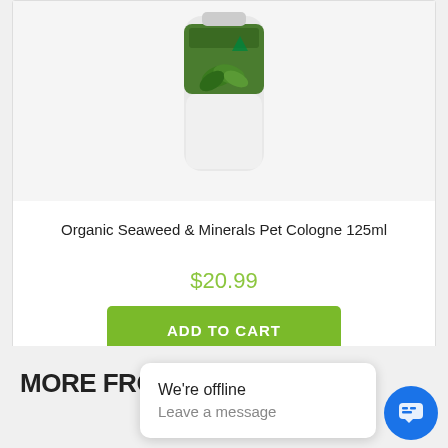[Figure (photo): Product image of Organic Seaweed & Minerals Pet Cologne 125ml bottle with green label and seaweed graphic]
Organic Seaweed & Minerals Pet Cologne 125ml
$20.99
ADD TO CART
MORE FROM OR
We're offline
Leave a message